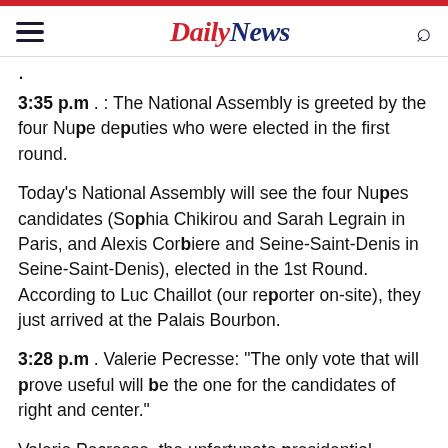Daily News
3:35 p.m . : The National Assembly is greeted by the four Nupe deputies who were elected in the first round.
Today's National Assembly will see the four Nupes candidates (Sophia Chikirou and Sarah Legrain in Paris, and Alexis Corbiere and Seine-Saint-Denis in Seine-Saint-Denis), elected in the 1st Round. According to Luc Chaillot (our reporter on-site), they just arrived at the Palais Bourbon.
3:28 p.m . Valerie Pecresse: "The only vote that will prove useful will be the one for the candidates of right and center."
Valerie Pecresse, the unfortunate presidential